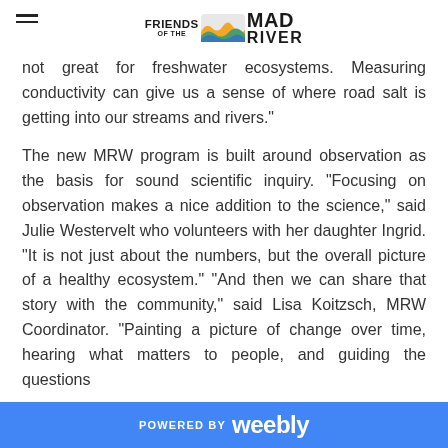FRIENDS OF THE MAD RIVER
not great for freshwater ecosystems. Measuring conductivity can give us a sense of where road salt is getting into our streams and rivers."
The new MRW program is built around observation as the basis for sound scientific inquiry. “Focusing on observation makes a nice addition to the science,” said Julie Westervelt who volunteers with her daughter Ingrid. “It is not just about the numbers, but the overall picture of a healthy ecosystem.” “And then we can share that story with the community,” said Lisa Koitzsch, MRW Coordinator. “Painting a picture of change over time, hearing what matters to people, and guiding the questions
POWERED BY weebly